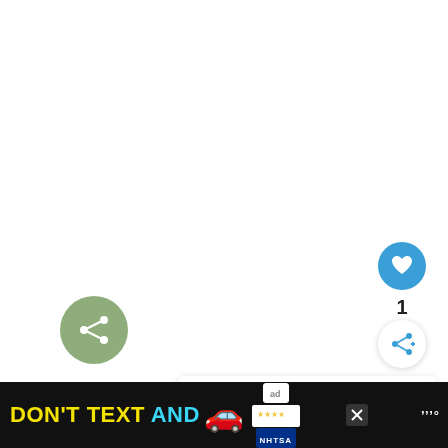[Figure (screenshot): White empty content area]
[Figure (infographic): Green circular share button with white share/network icon]
[Figure (infographic): Blue circular like/heart button]
1
[Figure (infographic): White circular forward/share button with blue share+ icon]
[Figure (infographic): What's Next panel with circular food thumbnail image, label 'WHAT'S NEXT →' and title '57+ Perfect Vegetables...']
[Figure (infographic): Ad banner: DON'T TEXT AND [car emoji] with NHTSA logo, close button, and W° icon]